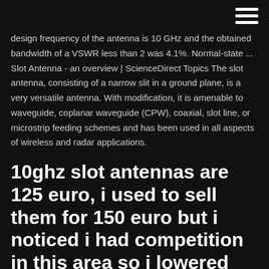design frequency of the antenna is 10 GHz and the obtained bandwidth of a VSWR less than 2 was 4.1%. Normal-state ... Slot Antenna - an overview | ScienceDirect Topics The slot antenna, consisting of a narrow slit in a ground plane, is a very versatile antenna. With modification, it is amenable to waveguide, coplanar waveguide (CPW), coaxial, slot line, or microstrip feeding schemes and has been used in all aspects of wireless and radar applications.
10ghz slot antennas are 125 euro, i used to sell them for 150 euro but i noticed i had competition in this area so i lowered price. 10ghz and 24ghz